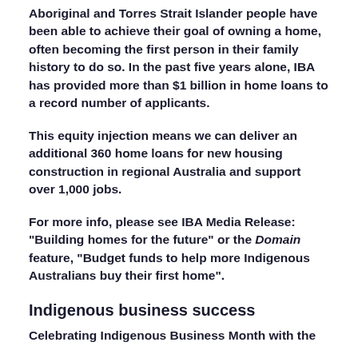Aboriginal and Torres Strait Islander people have been able to achieve their goal of owning a home, often becoming the first person in their family history to do so. In the past five years alone, IBA has provided more than $1 billion in home loans to a record number of applicants.
This equity injection means we can deliver an additional 360 home loans for new housing construction in regional Australia and support over 1,000 jobs.
For more info, please see IBA Media Release: "Building homes for the future" or the Domain feature, "Budget funds to help more Indigenous Australians buy their first home".
Indigenous business success
Celebrating Indigenous Business Month with the...